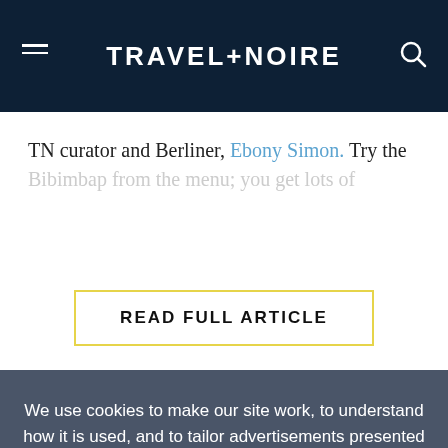TRAVEL+NOIRE
TN curator and Berliner, Ebony Simon. Try the Bibimbap from the menu; you get lots of
READ FULL ARTICLE
We use cookies to make our site work, to understand how it is used, and to tailor advertisements presented on our site. By clicking “Accept”, you agree to us doing so. You can read more by clicking on our privacy policy here.
Accept